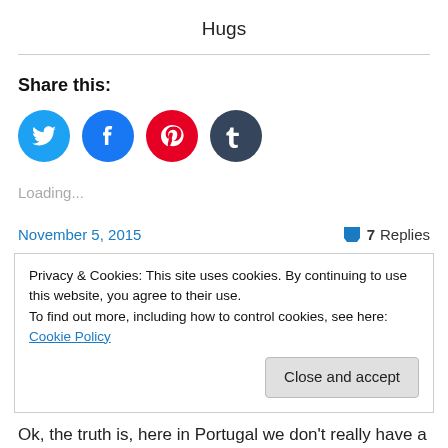Hugs
Share this:
[Figure (other): Social sharing icons: Twitter (blue circle), Facebook (blue circle), Pinterest (red circle), Tumblr (dark navy circle)]
Loading...
November 5, 2015
7 Replies
Privacy & Cookies: This site uses cookies. By continuing to use this website, you agree to their use.
To find out more, including how to control cookies, see here: Cookie Policy
Close and accept
Ok, the truth is, here in Portugal we don't really have a big